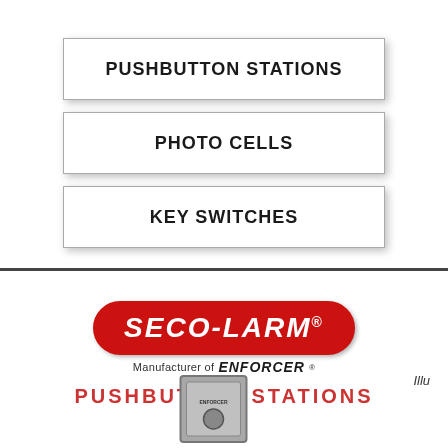PUSHBUTTON STATIONS
PHOTO CELLS
KEY SWITCHES
[Figure (logo): SECO-LARM logo in red rounded badge with white italic bold text, with 'Manufacturer of ENFORCER' tagline below]
PUSHBUTTON STATIONS
Illu